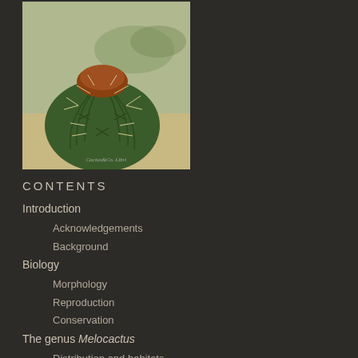[Figure (photo): A Melocactus cactus growing in sandy soil, showing a rounded green barrel cactus body with prominent ribs and spines, topped with a reddish-brown cephalium. Sandy desert ground visible. Watermark reads 'Cactus&Co. Libri'.]
CONTENTS
Introduction
Acknowledgements
Background
Biology
Morphology
Reproduction
Conservation
The genus Melocactus
Distribution and habitats
The species
Melocactus Link & Otto